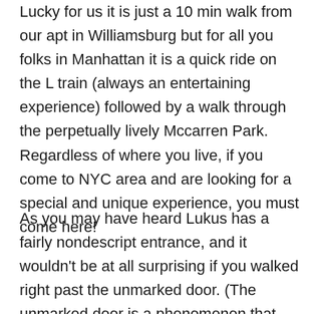Lucky for us it is just a 10 min walk from our apt in Williamsburg but for all you folks in Manhattan it is a quick ride on the L train (always an entertaining experience) followed by a walk through the perpetually lively Mccarren Park. Regardless of where you live, if you come to NYC area and are looking for a special and unique experience, you must come here!
As you may have heard Lukus has a fairly nondescript entrance, and it wouldn't be at all surprising if you walked right past the unmarked door. (The unmarked door is a phenomenon that